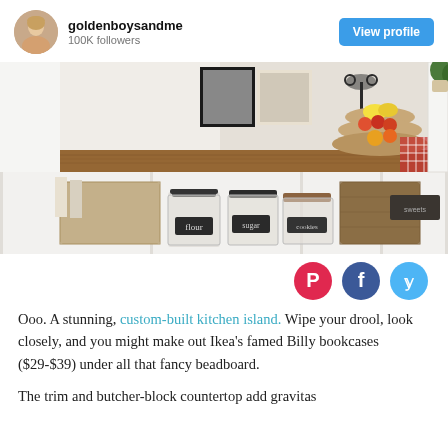goldenboysandme
100K followers
[View profile button]
[Figure (photo): Kitchen island with white shelving, butcher-block wood countertop, glass canisters labeled flour, sugar, cookies, wicker baskets, and a tiered fruit stand with bananas, apples, and other fruits on the right side.]
[Figure (infographic): Three social sharing icons: Pinterest (red), Facebook (blue), Twitter (light blue)]
Ooo. A stunning, custom-built kitchen island. Wipe your drool, look closely, and you might make out Ikea's famed Billy bookcases ($29-$39) under all that fancy beadboard.
The trim and butcher-block countertop add gravitas